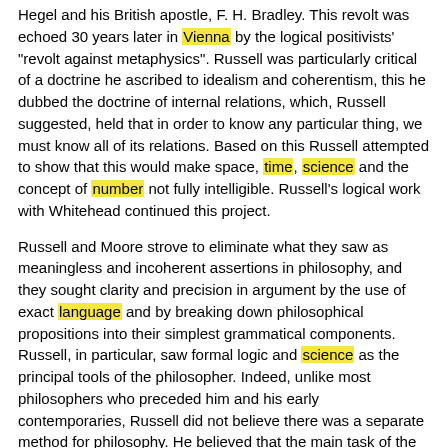Hegel and his British apostle, F. H. Bradley. This revolt was echoed 30 years later in Vienna by the logical positivists' "revolt against metaphysics". Russell was particularly critical of a doctrine he ascribed to idealism and coherentism, this he dubbed the doctrine of internal relations, which, Russell suggested, held that in order to know any particular thing, we must know all of its relations. Based on this Russell attempted to show that this would make space, time, science and the concept of number not fully intelligible. Russell's logical work with Whitehead continued this project.
Russell and Moore strove to eliminate what they saw as meaningless and incoherent assertions in philosophy, and they sought clarity and precision in argument by the use of exact language and by breaking down philosophical propositions into their simplest grammatical components. Russell, in particular, saw formal logic and science as the principal tools of the philosopher. Indeed, unlike most philosophers who preceded him and his early contemporaries, Russell did not believe there was a separate method for philosophy. He believed that the main task of the philosopher was to illuminate the most general propositions about the world and to eliminate confusion. In particular, he wanted to end what he saw as the excesses of metaphysics. Russell adopted William of Ockham's principle against multiplying unnecessary entities, Occam's Razor, as a central part of the method of analysis.
Logic and philosophy of mathematics